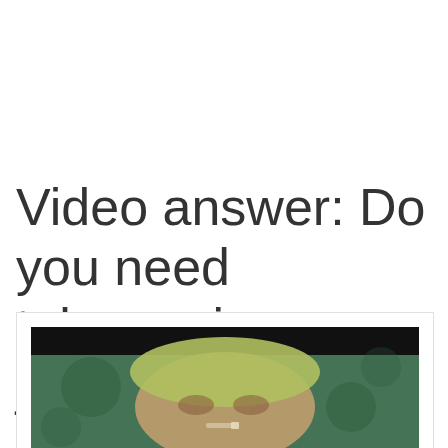Video answer: Do you need tobacco in a joint?
[Figure (photo): Video thumbnail showing a close-up of a person with blonde/green-tinted hair holding what appears to be a joint or cigarette, set against a dark greenish background. The top portion of the video frame has a black letterbox bar.]